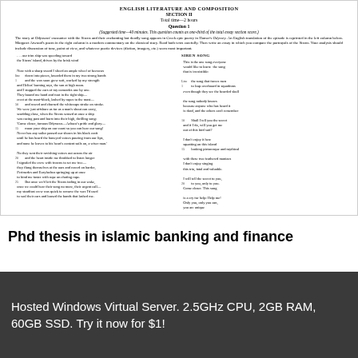ENGLISH LITERATURE AND COMPOSITION
SECTION II
Total time—2 hours
Question 1
(Suggested time—40 minutes. This question counts as one-third of the total essay section score.)
The story of Odysseus' encounter with the Sirens and their enchanting but deadly song appears in Greek epic poetry in Homer's Odyssey. An English translation of the episode is reprinted in the left column below, Margaret Atwood's poem in the right column is a modern commentary on the classical story. Read both texts carefully. Then write an essay in which you compare the portrayals of the Sirens. Your analysis should include discussion of tone, point of view, and whatever poetic devices (diction, imagery, etc.) seem most important.
Left column poem and right column SIREN SONG text
Phd thesis in islamic banking and finance
Hosted Windows Virtual Server. 2.5GHz CPU, 2GB RAM, 60GB SSD. Try it now for $1!